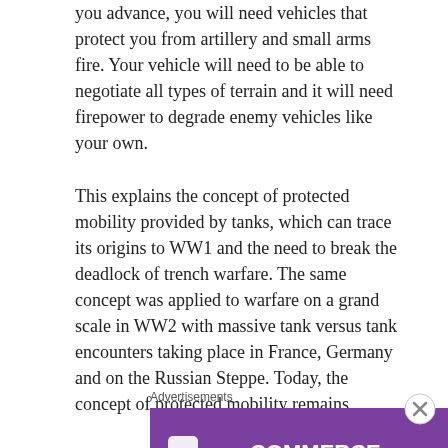you advance, you will need vehicles that protect you from artillery and small arms fire. Your vehicle will need to be able to negotiate all types of terrain and it will need firepower to degrade enemy vehicles like your own.
This explains the concept of protected mobility provided by tanks, which can trace its origins to WW1 and the need to break the deadlock of trench warfare. The same concept was applied to warfare on a grand scale in WW2 with massive tank versus tank encounters taking place in France, Germany and on the Russian Steppe. Today, the concept of protected mobility remains
Advertisements
[Figure (other): WooCommerce advertisement banner: purple left section with WooCommerce logo and teal arrow, white right section with orange and blue decorative shapes and text 'How to start selling subscriptions online']